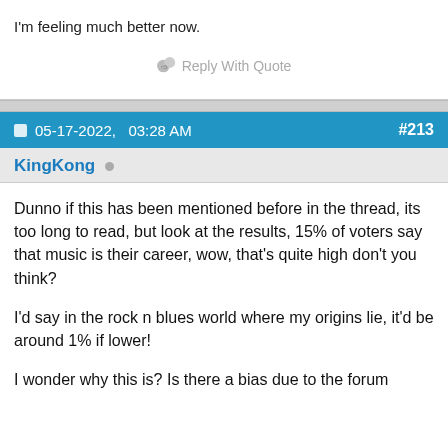I'm feeling much better now.
Reply With Quote
05-17-2022,   03:28 AM   #213
KingKong
Dunno if this has been mentioned before in the thread, its too long to read, but look at the results, 15% of voters say that music is their career, wow, that's quite high don't you think?

I'd say in the rock n blues world where my origins lie, it'd be around 1% if lower!

I wonder why this is? Is there a bias due to the forum